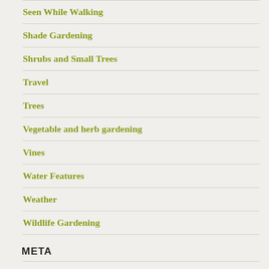Seen While Walking
Shade Gardening
Shrubs and Small Trees
Travel
Trees
Vegetable and herb gardening
Vines
Water Features
Weather
Wildlife Gardening
META
Register